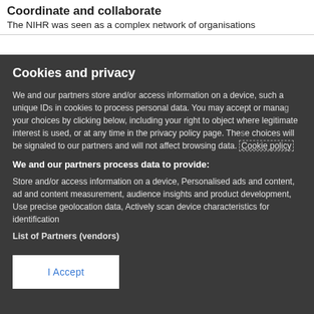Coordinate and collaborate
The NIHR was seen as a complex network of organisations
Cookies and privacy
We and our partners store and/or access information on a device, such as unique IDs in cookies to process personal data. You may accept or manage your choices by clicking below, including your right to object where legitimate interest is used, or at any time in the privacy policy page. These choices will be signaled to our partners and will not affect browsing data. Cookie policy
We and our partners process data to provide:
Store and/or access information on a device, Personalised ads and content, ad and content measurement, audience insights and product development, Use precise geolocation data, Actively scan device characteristics for identification
List of Partners (vendors)